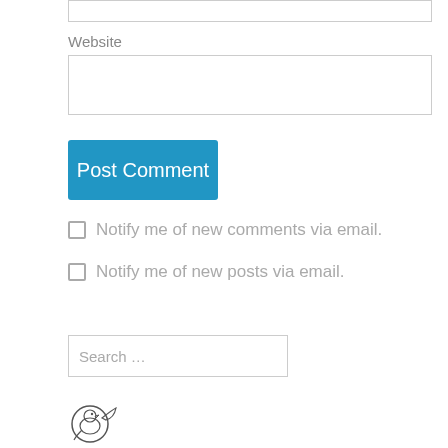Website
Post Comment
Notify me of new comments via email.
Notify me of new posts via email.
Search …
[Figure (logo): Small circular logo/illustration of a bird or creature]